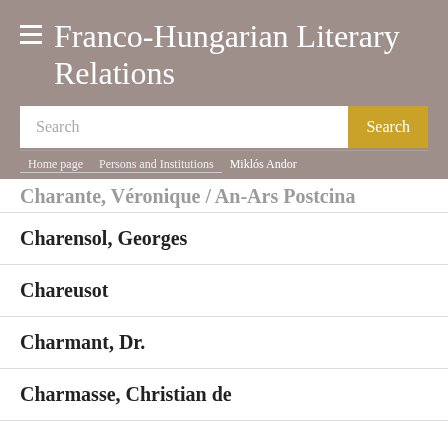Franco-Hungarian Literary Relations
Search
Home page > Persons and Institutions > Miklós Andor
Charensol, Georges
Chareusot
Charmant, Dr.
Charmasse, Christian de